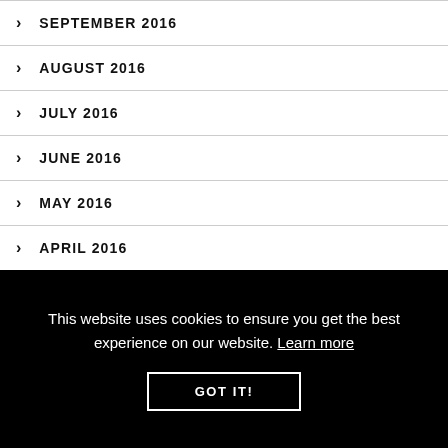SEPTEMBER 2016
AUGUST 2016
JULY 2016
JUNE 2016
MAY 2016
APRIL 2016
This website uses cookies to ensure you get the best experience on our website. Learn more
GOT IT!